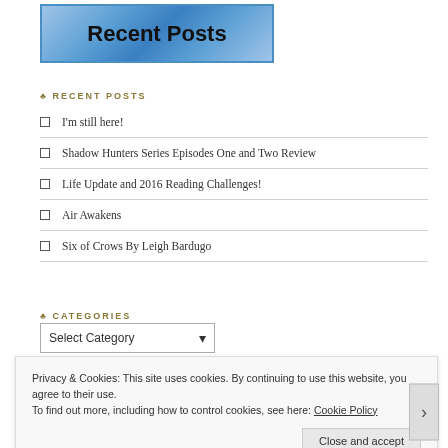[Figure (illustration): Blue diamond-pattern banner image with bold black text reading 'Recent Posts']
RECENT POSTS
I'm still here!
Shadow Hunters Series Episodes One and Two Review
Life Update and 2016 Reading Challenges!
Air Awakens
Six of Crows By Leigh Bardugo
CATEGORIES
Select Category
Privacy & Cookies: This site uses cookies. By continuing to use this website, you agree to their use.
To find out more, including how to control cookies, see here: Cookie Policy
Close and accept